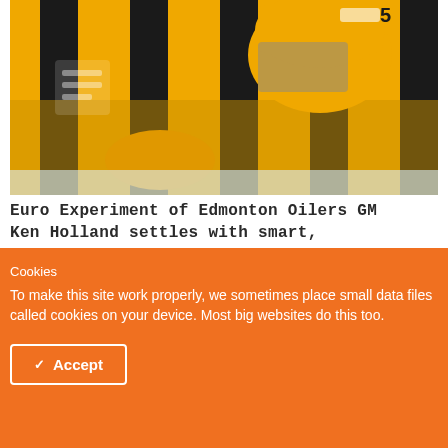[Figure (photo): Hockey player wearing yellow and black striped jersey with number 5, leaning forward on ice, wearing CCM helmet]
Euro Experiment of Edmonton Oilers GM Ken Holland settles with smart, proficient signings
Cookies
To make this site work properly, we sometimes place small data files called cookies on your device. Most big websites do this too.
Accept